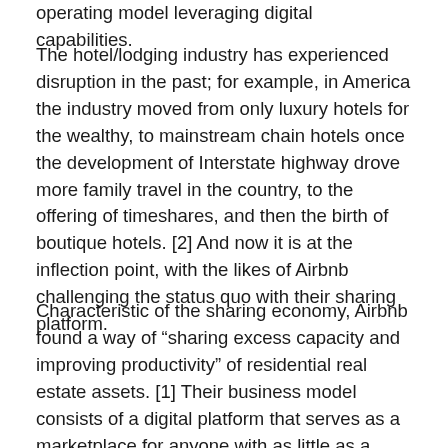operating model leveraging digital capabilities.
The hotel/lodging industry has experienced disruption in the past; for example, in America the industry moved from only luxury hotels for the wealthy, to mainstream chain hotels once the development of Interstate highway drove more family travel in the country, to the offering of timeshares, and then the birth of boutique hotels. [2] And now it is at the inflection point, with the likes of Airbnb challenging the status quo with their sharing platform.
Characteristic of the sharing economy, Airbnb found a way of “sharing excess capacity and improving productivity” of residential real estate assets. [1] Their business model consists of a digital platform that serves as a marketplace for anyone with as little as a room to “run their own